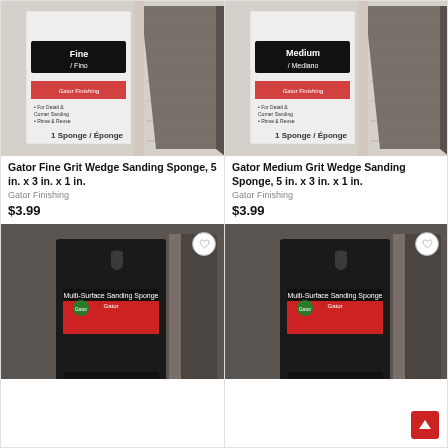[Figure (photo): Gator Fine Grit Wedge Sanding Sponge product photo showing package and sponge]
Gator Fine Grit Wedge Sanding Sponge, 5 in. x 3 in. x 1 in.
Gator Finishing
$3.99
[Figure (photo): Gator Medium Grit Wedge Sanding Sponge product photo showing package and sponge]
Gator Medium Grit Wedge Sanding Sponge, 5 in. x 3 in. x 1 in.
Gator Finishing
$3.99
[Figure (photo): Gator Jumbo Fine Sanding Sponge product photo showing dark package]
[Figure (photo): Gator Jumbo Medium Sanding Sponge product photo showing dark package]